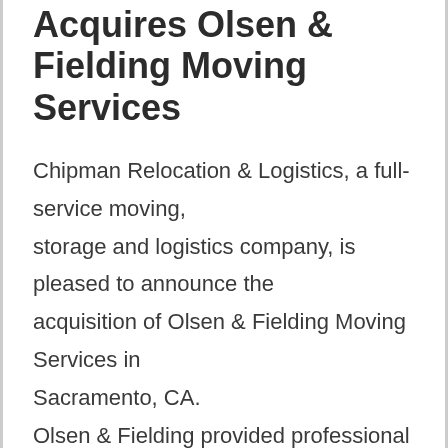Acquires Olsen & Fielding Moving Services
Chipman Relocation & Logistics, a full-service moving, storage and logistics company, is pleased to announce the acquisition of Olsen & Fielding Moving Services in Sacramento, CA. Olsen & Fielding provided professional moving solutions to residential and corporate customers, as well as the U.S.